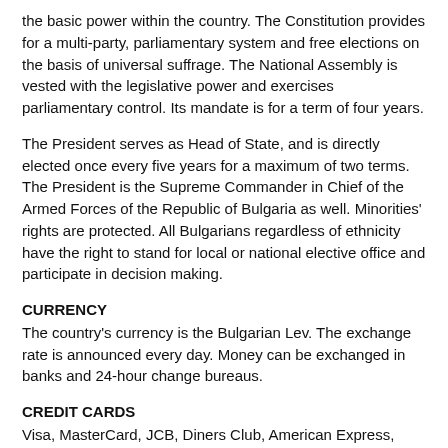the basic power within the country. The Constitution provides for a multi-party, parliamentary system and free elections on the basis of universal suffrage. The National Assembly is vested with the legislative power and exercises parliamentary control. Its mandate is for a term of four years.
The President serves as Head of State, and is directly elected once every five years for a maximum of two terms. The President is the Supreme Commander in Chief of the Armed Forces of the Republic of Bulgaria as well. Minorities' rights are protected. All Bulgarians regardless of ethnicity have the right to stand for local or national elective office and participate in decision making.
CURRENCY
The country's currency is the Bulgarian Lev. The exchange rate is announced every day. Money can be exchanged in banks and 24-hour change bureaus.
CREDIT CARDS
Visa, MasterCard, JCB, Diners Club, American Express, Access, Airplus.
These can be used both on ATMs and for payment of all